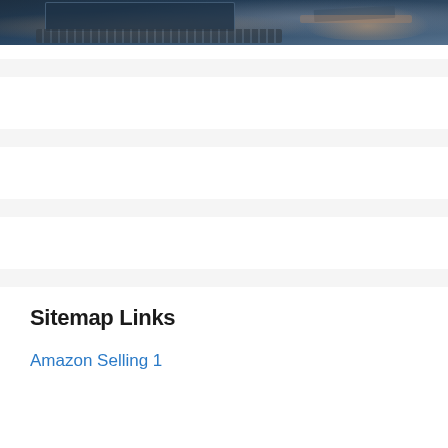[Figure (photo): A dark-toned photo of a person typing on a laptop with a credit card visible, taken from above at an angle. Blue-grey tones dominate.]
Sitemap Links
Amazon Selling 1